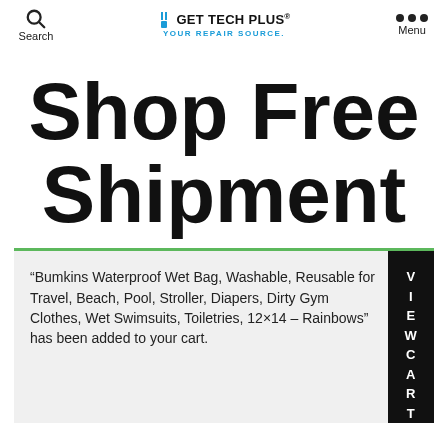Search  GET TECH PLUS YOUR REPAIR SOURCE.  Menu
Shop Free Shipment
“Bumkins Waterproof Wet Bag, Washable, Reusable for Travel, Beach, Pool, Stroller, Diapers, Dirty Gym Clothes, Wet Swimsuits, Toiletries, 12×14 – Rainbows” has been added to your cart.